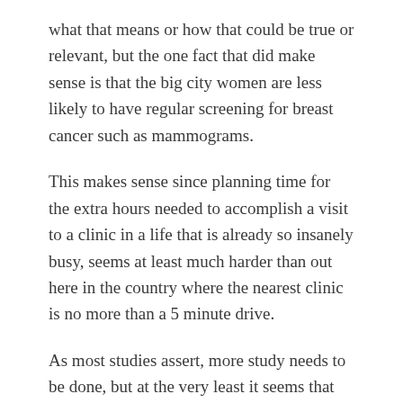what that means or how that could be true or relevant, but the one fact that did make sense is that the big city women are less likely to have regular screening for breast cancer such as mammograms.
This makes sense since planning time for the extra hours needed to accomplish a visit to a clinic in a life that is already so insanely busy, seems at least much harder than out here in the country where the nearest clinic is no more than a 5 minute drive.
As most studies assert, more study needs to be done, but at the very least it seems that anything that causes women to be less proactive about breast cancer screening, and for that matter, causes men to be less proactive about prostate cancer screening, can't be good. Regular screening has